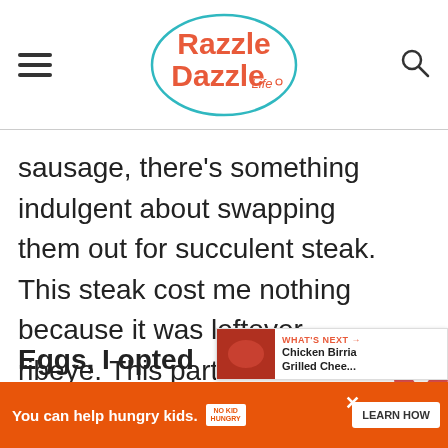Razzle Dazzle Life
sausage, there's something indulgent about swapping them out for succulent steak. This steak cost me nothing because it was leftover ribeye. This particular cut of steak is rich with a buttery flavor but you can use whichever type of steak you prefer.
Eggs, I opted for scrambled eggs
You can help hungry kids. NO KID HUNGRY LEARN HOW